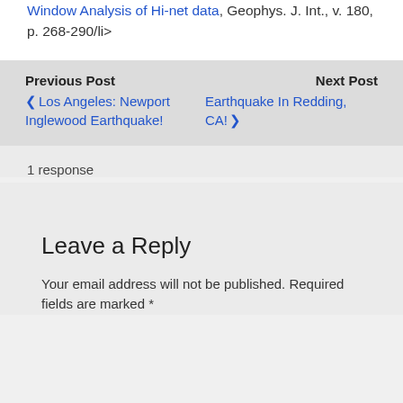Window Analysis of Hi-net data, Geophys. J. Int., v. 180, p. 268-290/li>
Previous Post | Next Post
< Los Angeles: Newport Inglewood Earthquake!
Earthquake In Redding, CA! >
1 response
Leave a Reply
Your email address will not be published. Required fields are marked *